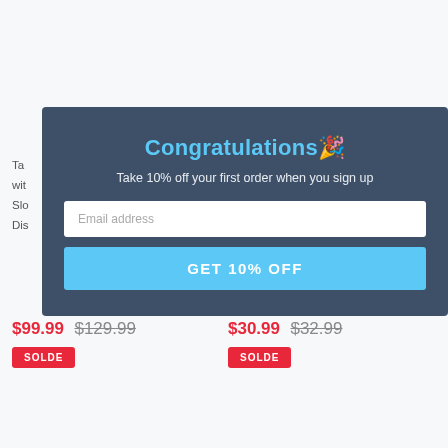Ta...
wit...
Slo...
Dis...
[Figure (screenshot): Modal popup with dark blue-grey background. Contains title 'Congratulations🎉', subtitle 'Take 10% off your first order when you sign up', an email address input field, and a blue 'GET 10% OFF' button.]
$99.99  $129.99
SOLDE
$30.99  $32.99
SOLDE